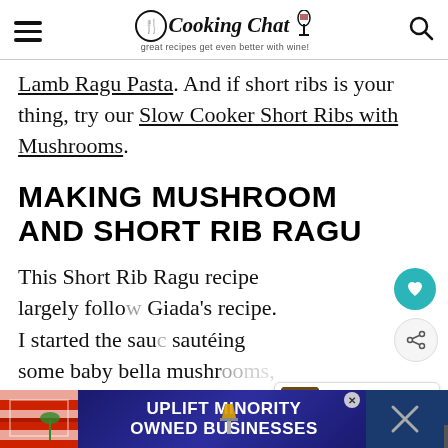Cooking Chat — great recipes get even better with wine!
Lamb Ragu Pasta. And if short ribs is your thing, try our Slow Cooker Short Ribs with Mushrooms.
MAKING MUSHROOM AND SHORT RIB RAGU
This Short Rib Ragu recipe largely follows Giada's recipe. I started the sauce by sautéing some baby bella mushrooms, instead of the pancetta called for by G...
[Figure (other): UPLIFT MINORITY OWNED BUSINESSES advertisement banner at bottom of page]
[Figure (other): What's Next widget showing Slow Cooker Short Ribs thumbnail]
[Figure (other): Heart save button and share button floating on right side]